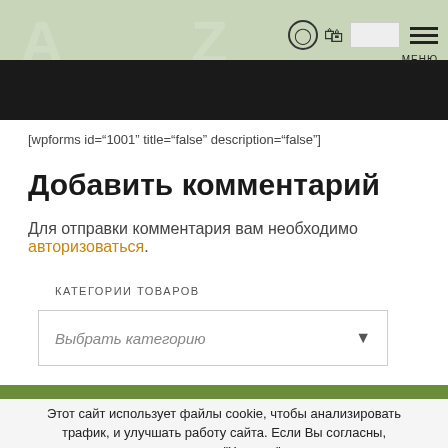[Figure (screenshot): Header banner with light green background, keyboard image at bottom, icons (user, basket, search box, menu) in top right, MENU label below icons]
[wpforms id="1001" title="false" description="false"]
Добавить комментарий
Для отправки комментария вам необходимо авторизоваться.
КАТЕГОРИИ ТОВАРОВ
Выбрать категорию
Этот сайт использует файлы cookie, чтобы анализировать трафик, и улучшать работу сайта. Если Вы согласны, нажмите "Хорошо"